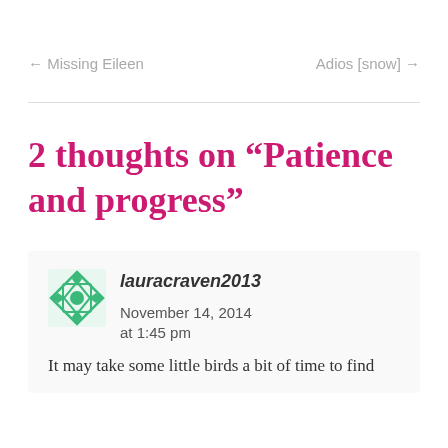← Missing Eileen
Adios [snow] →
2 thoughts on “Patience and progress”
lauracraven2013   November 14, 2014 at 1:45 pm
It may take some little birds a bit of time to find